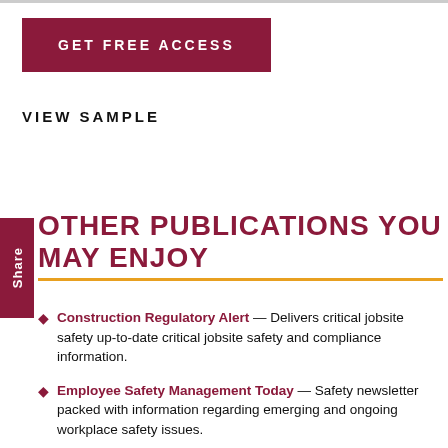GET FREE ACCESS
VIEW SAMPLE
OTHER PUBLICATIONS YOU MAY ENJOY
Construction Regulatory Alert — Delivers critical jobsite safety up-to-date critical jobsite safety and compliance information.
Employee Safety Management Today — Safety newsletter packed with information regarding emerging and ongoing workplace safety issues.
Safety Training Awareness Program — Streamline employee communication with